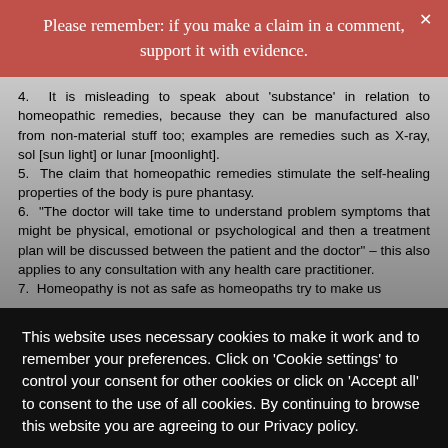Please remember: if you make a claim in a comment, support it with evidence.
4.  It is misleading to speak about 'substance' in relation to homeopathic remedies, because they can be manufactured also from non-material stuff too; examples are remedies such as X-ray, sol [sun light] or lunar [moonlight].
5.  The claim that homeopathic remedies stimulate the self-healing properties of the body is pure phantasy.
6.  "The doctor will take time to understand problem symptoms that might be physical, emotional or psychological and then a treatment plan will be discussed between the patient and the doctor" – this also applies to any consultation with any health care practitioner.
7.  Homeopathy is not as safe as homeopaths try to make us
This website uses necessary cookies to make it work and to remember your preferences. Click on 'Cookie settings' to control your consent for other cookies or click on 'Accept all' to consent to the use of all cookies. By continuing to browse this website you are agreeing to our Privacy policy.